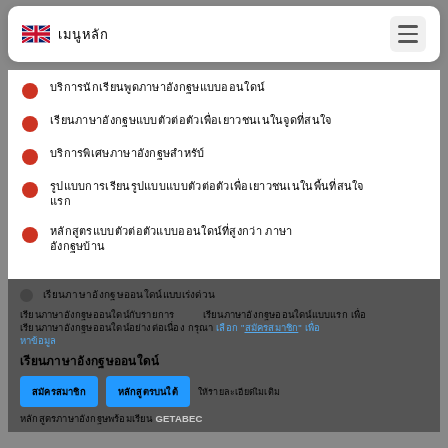[flag] [Thai text] [hamburger menu]
[Thai text - bullet item 1]
[Thai text - bullet item 2]
[Thai text - bullet item 3]
[Thai text - bullet item 4, two lines]
[Thai text - bullet item 5, two lines]
[Thai text - bullet item 6, dark background]
[Thai body text with highlighted link text and bold Thai heading]
[Two blue buttons and small text] GETABEC